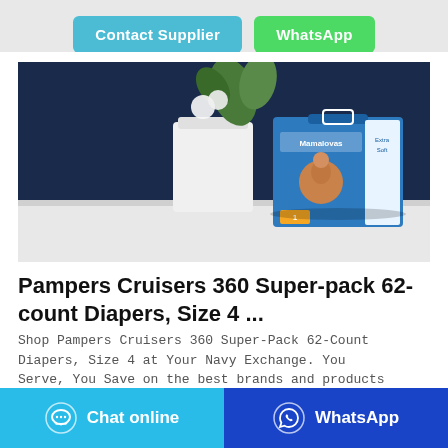[Figure (other): Two buttons at top: 'Contact Supplier' (teal/cyan) and 'WhatsApp' (green) on a gray background bar]
[Figure (photo): Product photo of Mamalovas Baby Diapers box (blue packaging with baby image) on a white surface with a white vase and dark blue background]
Pampers Cruisers 360 Super-pack 62-count Diapers, Size 4 ...
Shop Pampers Cruisers 360 Super-Pack 62-Count Diapers, Size 4 at Your Navy Exchange. You Serve, You Save on the best brands and products in Disposable Diapers.
[Figure (other): Bottom bar with two buttons: 'Chat online' (cyan/teal, with chat bubble icon) and 'WhatsApp' (dark blue, with WhatsApp phone icon)]